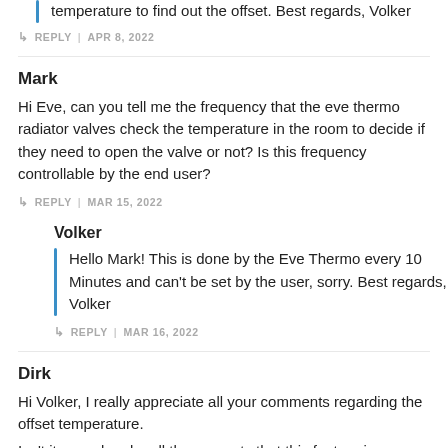temperature to find out the offset. Best regards, Volker
↳ REPLY | APR 8, 2022
Mark
Hi Eve, can you tell me the frequency that the eve thermo radiator valves check the temperature in the room to decide if they need to open the valve or not? Is this frequency controllable by the end user?
↳ REPLY | MAR 15, 2022
Volker
Hello Mark! This is done by the Eve Thermo every 10 Minutes and can't be set by the user, sorry. Best regards, Volker
↳ REPLY | MAR 16, 2022
Dirk
Hi Volker, I really appreciate all your comments regarding the offset temperature.
Isn't it very clear by all the requests that this feature is